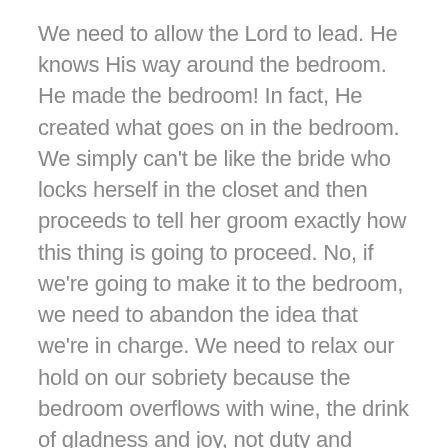We need to allow the Lord to lead. He knows His way around the bedroom. He made the bedroom! In fact, He created what goes on in the bedroom. We simply can't be like the bride who locks herself in the closet and then proceeds to tell her groom exactly how this thing is going to proceed. No, if we're going to make it to the bedroom, we need to abandon the idea that we're in charge. We need to relax our hold on our sobriety because the bedroom overflows with wine, the drink of gladness and joy, not duty and rules. We're not to dictate to God what we will and will not accept. Nor do we need to be in control because...
No shame exists in the bedroom. One of the blessings of being married for several years